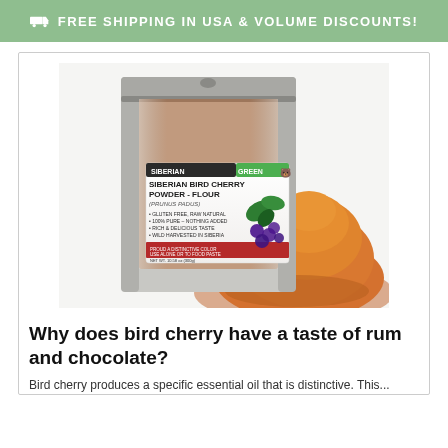FREE SHIPPING IN USA & VOLUME DISCOUNTS!
[Figure (photo): Product photo of Siberian Green brand Siberian Bird Cherry Powder - Flour (Prunus Padus) in a metallic resealable pouch, with a pile of orange-brown powder in the foreground.]
Why does bird cherry have a taste of rum and chocolate?
Bird cherry produces a specific essential oil that is distinctive. This...